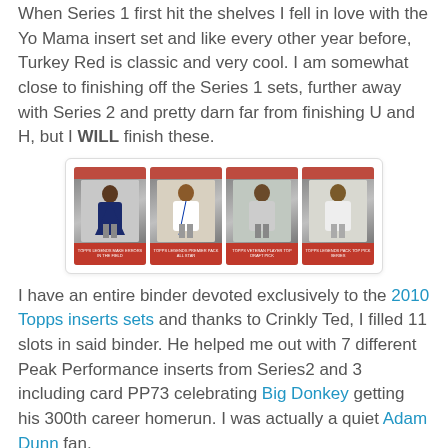When Series 1 first hit the shelves I fell in love with the Yo Mama insert set and like every other year before, Turkey Red is classic and very cool. I am somewhat close to finishing off the Series 1 sets, further away with Series 2 and pretty darn far from finishing U and H, but I WILL finish these.
[Figure (photo): Four Topps baseball cards displayed side by side showing players in action poses with red bottom bars and team logos]
I have an entire binder devoted exclusively to the 2010 Topps inserts sets and thanks to Crinkly Ted, I filled 11 slots in said binder. He helped me out with 7 different Peak Performance inserts from Series2 and 3 including card PP73 celebrating Big Donkey getting his 300th career homerun. I was actually a quiet Adam Dunn fan.
[Figure (photo): A Topps Peak Performance baseball card showing a player batting, with red banner reading PEAK PERFORMANCE at the top]